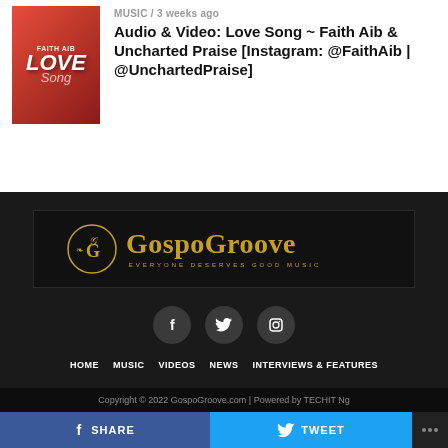[Figure (photo): Thumbnail image of Faith Aib in red dress with Love Song text overlay]
MUSIC / 3 weeks ago
Audio & Video: Love Song ~ Faith Aib & Uncharted Praise [Instagram: @FaithAib | @UnchartedPraise]
[Figure (logo): GospoGroove logo — gold text on black background with emblem, tagline: EVERYONE DESERVES GOOD MUSIC]
[Figure (infographic): Social media icons: Facebook, Twitter, Instagram — dark circle buttons]
HOME   MUSIC   VIDEOS   NEWS   INTERVIEWS & FEATURES
Copyright © 2022 GospoGroove.com | Powered by TECHIT Ng
SHARE   TWEET